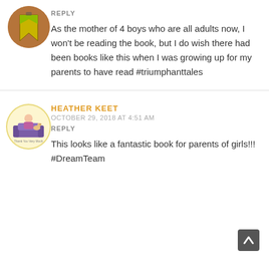[Figure (illustration): Circular avatar icon with a green/yellow triangle bookmark design on brown background]
REPLY
As the mother of 4 boys who are all adults now, I won't be reading the book, but I do wish there had been books like this when I was growing up for my parents to have read #triumphanttales
[Figure (illustration): Circular avatar with yellow border showing a cartoon girl sitting on a purple sofa with a dog, text 'Thank You Very Much' below]
HEATHER KEET
OCTOBER 29, 2018 AT 4:51 AM
REPLY
This looks like a fantastic book for parents of girls!!! #DreamTeam